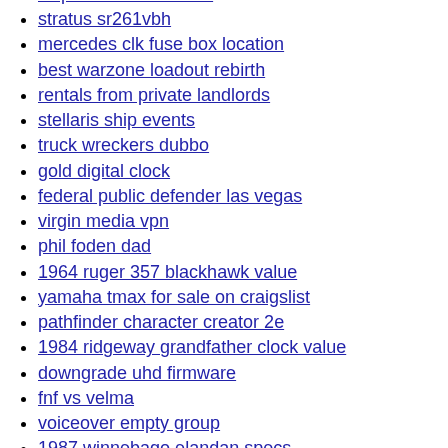ship detection dataset
stratus sr261vbh
mercedes clk fuse box location
best warzone loadout rebirth
rentals from private landlords
stellaris ship events
truck wreckers dubbo
gold digital clock
federal public defender las vegas
virgin media vpn
phil foden dad
1964 ruger 357 blackhawk value
yamaha tmax for sale on craigslist
pathfinder character creator 2e
1984 ridgeway grandfather clock value
downgrade uhd firmware
fnf vs velma
voiceover empty group
1987 winnebago elandan specs
student desk cad block
full screen windows 10
classroom of the elite year 2 volume 6 translation
ryomen sukuna x mother reader
warbirds over monroe air show
yool dab stick